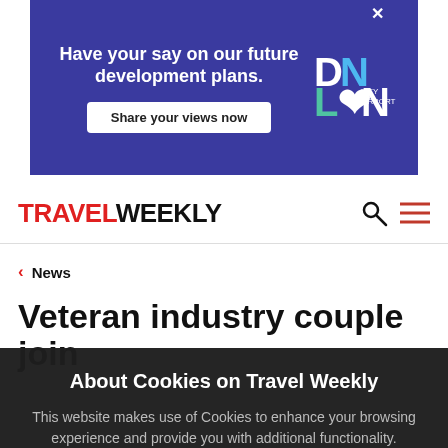[Figure (other): London City Airport advertisement banner with blue background. Text: 'Have your say on our future development plans. Share your views now' with airport logo.]
TRAVEL WEEKLY
< News
Veteran industry couple join
About Cookies on Travel Weekly
This website makes use of Cookies to enhance your browsing experience and provide you with additional functionality.
Learn more
ACCEPT AND CLOSE